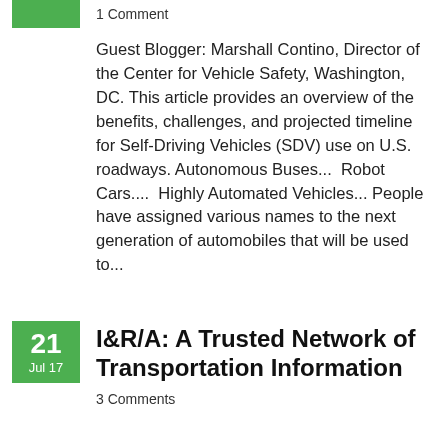1 Comment
Guest Blogger: Marshall Contino, Director of the Center for Vehicle Safety, Washington, DC. This article provides an overview of the benefits, challenges, and projected timeline for Self-Driving Vehicles (SDV) use on U.S. roadways. Autonomous Buses...  Robot Cars....  Highly Automated Vehicles... People have assigned various names to the next generation of automobiles that will be used to...
I&R/A: A Trusted Network of Transportation Information
3 Comments